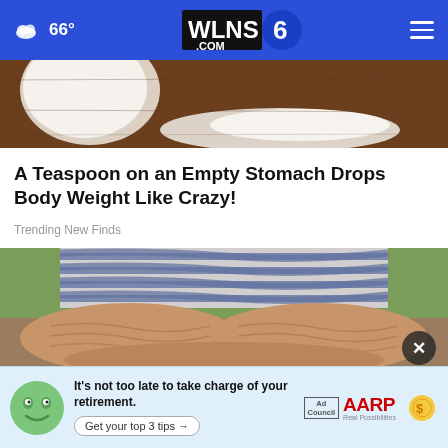66° WLNS6.com
[Figure (photo): Close-up of flour/white powder spilled on a wooden surface with a bowl]
A Teaspoon on an Empty Stomach Drops Body Weight Like Crazy!
Trending New Finds
[Figure (photo): Overweight person seated outdoors wearing a striped shirt, arms resting showing excess skin]
[Figure (other): AARP advertisement banner: It's not too late to take charge of your retirement. Get your top 3 tips. Ad Council and AARP logos.]